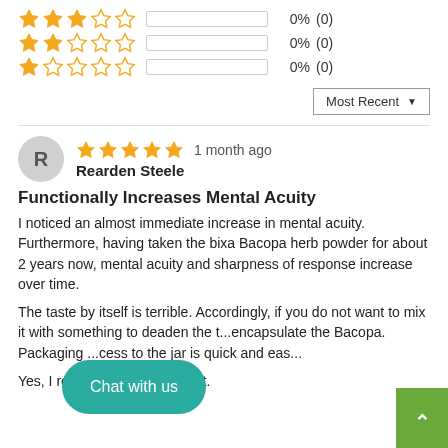[Figure (other): 3-star rating row with empty bar, 0% (0)]
[Figure (other): 2-star rating row with empty bar, 0% (0)]
[Figure (other): 1-star rating row with empty bar, 0% (0)]
Most Recent ▼
R
1 month ago
Rearden Steele
Functionally Increases Mental Acuity
I noticed an almost immediate increase in mental acuity. Furthermore, having taken the bixa Bacopa herb powder for about 2 years now, mental acuity and sharpness of response increase over time.
The taste by itself is terrible. Accordingly, if you do not want to mix it with something to deaden the t...encapsulate the Bacopa. Packaging ...cess to the jar is quick and eas...
Yes, I recommend this product.
Chat with us